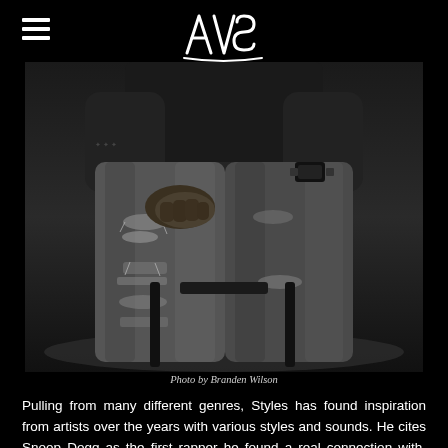AVS (logo)
[Figure (photo): Black and white photo of a person seated, wearing ripped/distressed jeans and a dark shirt, hands clasped on knee, watch visible on wrist. Close-up from torso down.]
Photo by Branden Wilson
Pulling from many different genres, Styles has found inspiration from artists over the years with various styles and sounds. He cites Snoop Dogg as the first rapper he found a real connection with. Doggystyle, released in 1993,